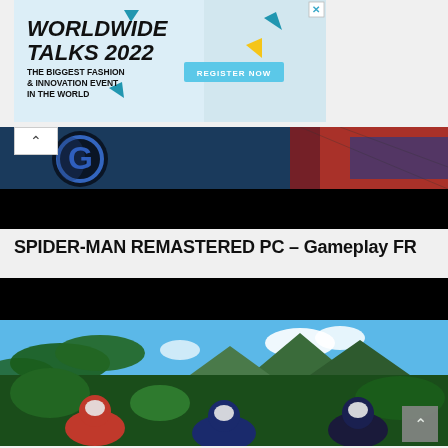[Figure (screenshot): Advertisement banner for 'Worldwide Talks 2022 - The Biggest Fashion & Innovation Event in the World' with a Register Now button on a light blue background with decorative triangles and a fashion model photo]
[Figure (screenshot): Video thumbnail showing Spider-Man game with a glowing blue G logo and Spider-Man character visible, with black bars at top and bottom (video player UI)]
SPIDER-MAN REMASTERED PC – Gameplay FR
[Figure (screenshot): Video thumbnail showing three Spider-Man characters (different suits) pointing at each other in a tropical jungle setting with mountains and blue sky in background, black bar at top]